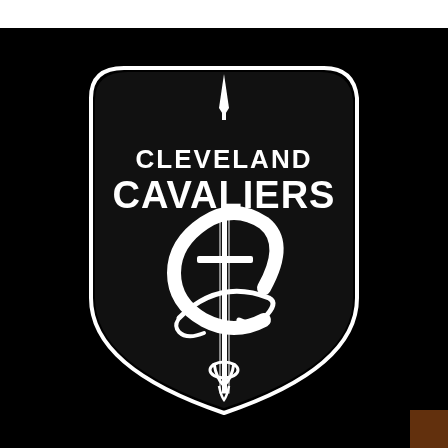[Figure (logo): Cleveland Cavaliers black and white logo: a shield shape with 'CLEVELAND' text above 'CAVALIERS' in bold block letters, with the NBA Cavaliers 'C' with sword emblem in the center, all in white on black background.]